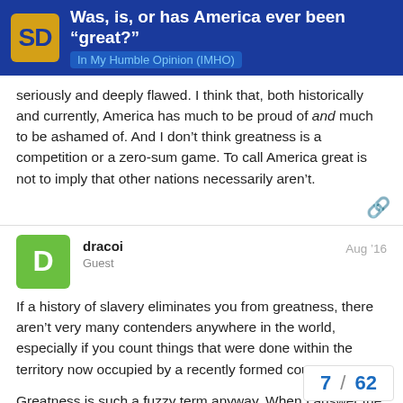Was, is, or has America ever been “great?” | In My Humble Opinion (IMHO)
seriously and deeply flawed. I think that, both historically and currently, America has much to be proud of and much to be ashamed of. And I don’t think greatness is a competition or a zero-sum game. To call America great is not to imply that other nations necessarily aren’t.
dracoi | Guest | Aug ’16
If a history of slavery eliminates you from greatness, there aren’t very many contenders anywhere in the world, especially if you count things that were done within the territory now occupied by a recently formed country.
Greatness is such a fuzzy term anyway. When I answer the question, I’m using it to mean “I like my co have no desire to move to any other count
7 / 62